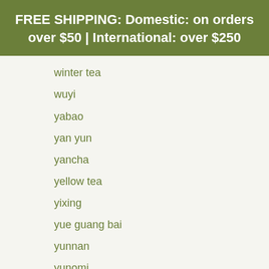FREE SHIPPING: Domestic: on orders over $50 | International: over $250
winter tea
wuyi
yabao
yan yun
yancha
yellow tea
yixing
yue guang bai
yunnan
yunomi
zen
zisha